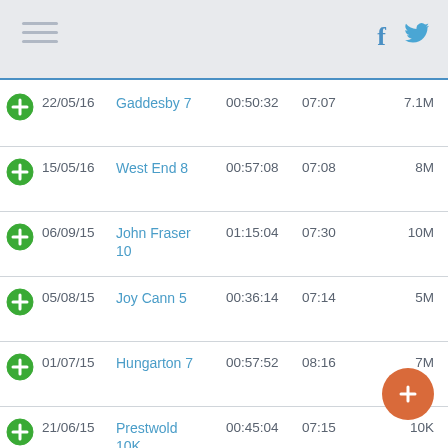Navigation menu with Facebook and Twitter icons
|  | Date | Race | Time | Pace | Dist |
| --- | --- | --- | --- | --- | --- |
| + | 22/05/16 | Gaddesby 7 | 00:50:32 | 07:07 | 7.1M |
| + | 15/05/16 | West End 8 | 00:57:08 | 07:08 | 8M |
| + | 06/09/15 | John Fraser 10 | 01:15:04 | 07:30 | 10M |
| + | 05/08/15 | Joy Cann 5 | 00:36:14 | 07:14 | 5M |
| + | 01/07/15 | Hungarton 7 | 00:57:52 | 08:16 | 7M |
| + | 21/06/15 | Prestwold 10K | 00:45:04 | 07:15 | 10K |
| + | 02/06/15 | Swithland 6 | 00:43:14 | 07:12 | 6M |
| + | 17/05/15 | West End 8 | 00:59:22 | 07:25 | 8M |
| + | 07/09/14 | John Fraser | 01:17:49 | 07:46 | 10M |